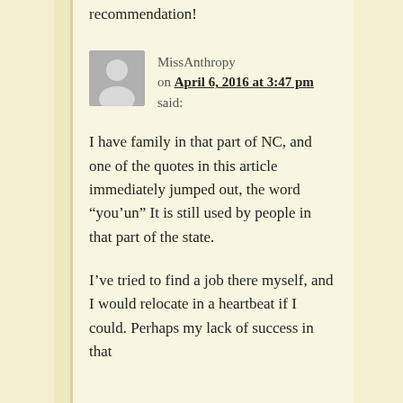recommendation!
MissAnthropy on April 6, 2016 at 3:47 pm said:
I have family in that part of NC, and one of the quotes in this article immediately jumped out, the word “you’un” It is still used by people in that part of the state.
I’ve tried to find a job there myself, and I would relocate in a heartbeat if I could. Perhaps my lack of success in that